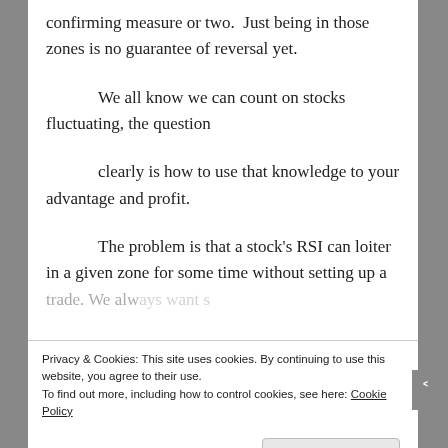confirming measure or two.  Just being in those zones is no guarantee of reversal yet.
We all know we can count on stocks fluctuating, the question
clearly is how to use that knowledge to your advantage and profit.
The problem is that a stock's RSI can loiter in a given zone for some time without setting up a trade. We always want something in the trade...
Privacy & Cookies: This site uses cookies. By continuing to use this website, you agree to their use.
To find out more, including how to control cookies, see here: Cookie Policy